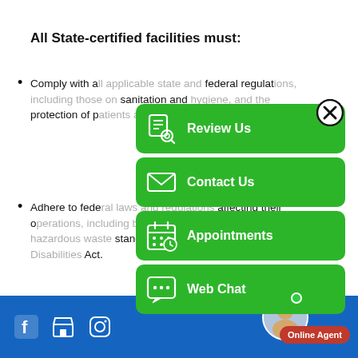All State-certified facilities must:
Comply with all applicable state and federal regulations, including those on sanitation and hygiene, and the protection of patients and employees.
Adhere to federal laws and regulations affecting their operations, including blood-borne pathogens standards, hazardous waste standards, and the Americans with Disabilities Act.
[Figure (infographic): Green overlay panel with four action buttons: Review Us (document/magnifier icon), Contact Us (envelope icon), Appointments (calendar icon), Web Chat (chat bubble icon). A close (X) button appears in the top-right corner of the overlay.]
Footer with blue background containing Facebook, store, and Instagram social media icons, and an Online Agent widget with a photo.